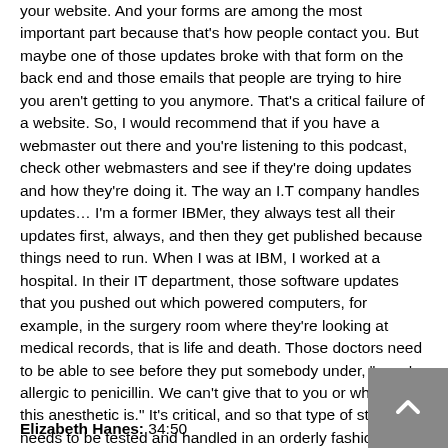your website. And your forms are among the most important part because that's how people contact you. But maybe one of those updates broke with that form on the back end and those emails that people are trying to hire you aren't getting to you anymore. That's a critical failure of a website. So, I would recommend that if you have a webmaster out there and you're listening to this podcast, check other webmasters and see if they're doing updates and how they're doing it. The way an I.T company handles updates… I'm a former IBMer, they always test all their updates first, always, and then they get published because things need to run. When I was at IBM, I worked at a hospital. In their IT department, those software updates that you pushed out which powered computers, for example, in the surgery room where they're looking at medical records, that is life and death. Those doctors need to be able to see before they put somebody under, ", you're allergic to penicillin. We can't give that to you or whatever this anesthetic is." It's critical, and so that type of stuff needs to be tested and handled in an orderly fashion. So, be it us, your existing webmaster, or anybody else, those updates are such a critical component of your website. I cannot stress that enough. That needs to be handled.
Elizabeth Hanes: 34:50